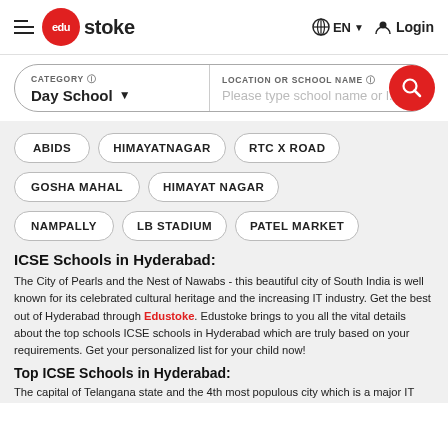edustoke EN Login
[Figure (screenshot): Search bar with CATEGORY 'Day School' and LOCATION OR SCHOOL NAME input with red search button]
ABIDS
HIMAYATNAGAR
RTC X ROAD
GOSHA MAHAL
HIMAYAT NAGAR
NAMPALLY
LB STADIUM
PATEL MARKET
ICSE Schools in Hyderabad:
The City of Pearls and the Nest of Nawabs - this beautiful city of South India is well known for its celebrated cultural heritage and the increasing IT industry. Get the best out of Hyderabad through Edustoke. Edustoke brings to you all the vital details about the top schools ICSE schools in Hyderabad which are truly based on your requirements. Get your personalized list for your child now!
Top ICSE Schools in Hyderabad:
The capital of Telangana state and the 4th most populous city which is a major IT